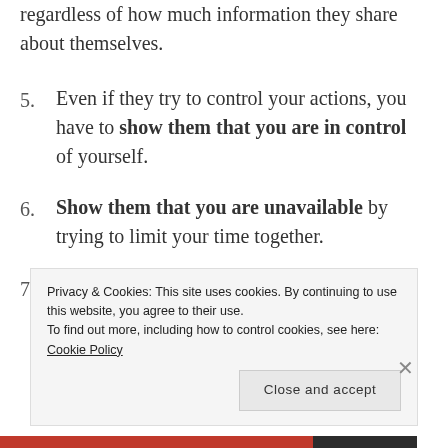regardless of how much information they share about themselves.
5. Even if they try to control your actions, you have to show them that you are in control of yourself.
6. Show them that you are unavailable by trying to limit your time together.
7. If you care about them and you think they are close to you, encourage them to visit
Privacy & Cookies: This site uses cookies. By continuing to use this website, you agree to their use. To find out more, including how to control cookies, see here: Cookie Policy
Close and accept